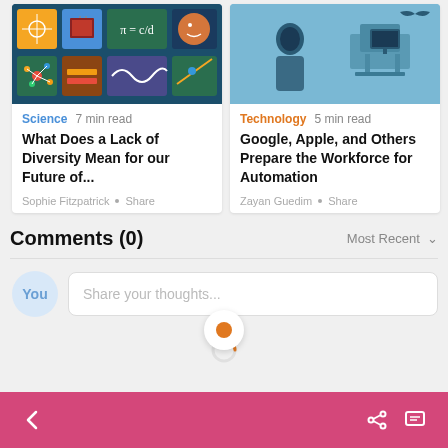[Figure (screenshot): Article card image for science article - colorful illustrated science icons on dark teal background]
Science  7 min read
What Does a Lack of Diversity Mean for our Future of...
Sophie Fitzpatrick  •  Share
[Figure (screenshot): Article card image for technology article - light blue background with minimal icon illustration]
Technology  5 min read
Google, Apple, and Others Prepare the Workforce for Automation
Zayan Guedim  •  Share
Comments (0)
Most Recent ∨
Share your thoughts...
< navigation back | share | message